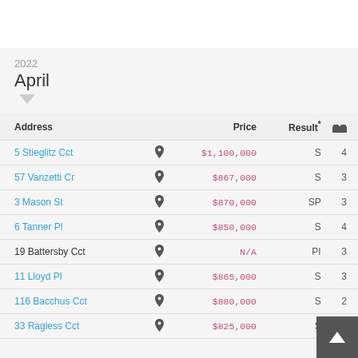2022
April
| Address |  | Price | Result* | 🛏 |
| --- | --- | --- | --- | --- |
| 5 Stieglitz Cct | 📍 | $1,100,000 | S | 4 |
| 57 Vanzetti Cr | 📍 | $867,000 | S | 3 |
| 3 Mason St | 📍 | $870,000 | SP | 3 |
| 6 Tanner Pl | 📍 | $850,000 | S | 4 |
| 19 Battersby Cct | 📍 | N/A | PI | 3 |
| 11 Lloyd Pl | 📍 | $865,000 | S | 3 |
| 116 Bacchus Cct | 📍 | $880,000 | S | 2 |
| 33 Ragless Cct | 📍 | $825,000 | S |  |